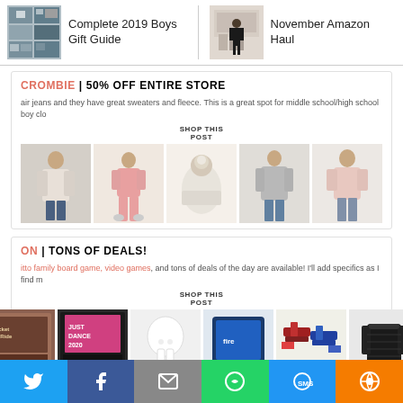[Figure (screenshot): Navigation thumbnails: Complete 2019 Boys Gift Guide with collage thumbnail, November Amazon Haul with person standing in room thumbnail]
CROMBIE | 50% OFF ENTIRE STORE
air jeans and they have great sweaters and fleece. This is a great spot for middle school/high school boy clo
SHOP THIS POST
[Figure (photo): Row of 5 clothing product images: woman in cardigan and jeans, woman in pink loungewear, white pom beanie, woman in grey sweater, woman in pink blouse with jeans]
ON | TONS OF DEALS!
itto family board game, video games, and tons of deals of the day are available! I'll add specifics as I find m
SHOP THIS POST
[Figure (photo): Row of product images: Ticket to Ride board game, Just Dance 2020 Xbox game, AirPods, Amazon Fire tablet, water guns, black puffer jacket]